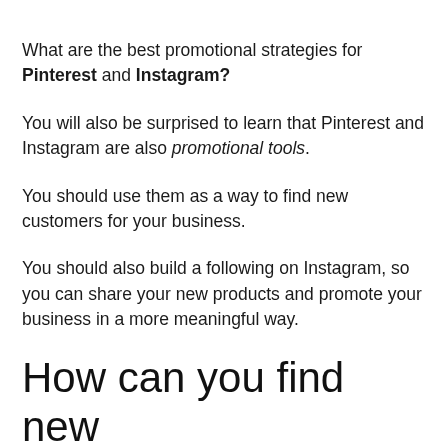What are the best promotional strategies for Pinterest and Instagram?
You will also be surprised to learn that Pinterest and Instagram are also promotional tools.
You should use them as a way to find new customers for your business.
You should also build a following on Instagram, so you can share your new products and promote your business in a more meaningful way.
How can you find new